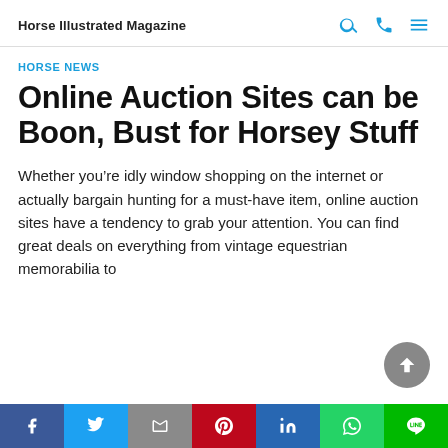Horse Illustrated Magazine
HORSE NEWS
Online Auction Sites can be Boon, Bust for Horsey Stuff
Whether you’re idly window shopping on the internet or actually bargain hunting for a must-have item, online auction sites have a tendency to grab your attention. You can find great deals on everything from vintage equestrian memorabilia to